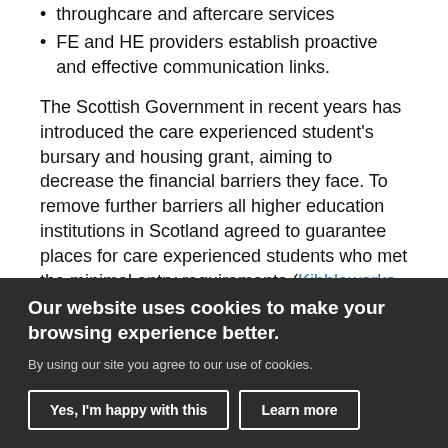throughcare and aftercare services
FE and HE providers establish proactive and effective communication links.
The Scottish Government in recent years has introduced the care experienced student's bursary and housing grant, aiming to decrease the financial barriers they face. To remove further barriers all higher education institutions in Scotland agreed to guarantee places for care experienced students who met the minimal entry requirements (Kibbleworks, 2020).
Our website uses cookies to make your browsing experience better.
By using our site you agree to our use of cookies.
Yes, I'm happy with this
Learn more